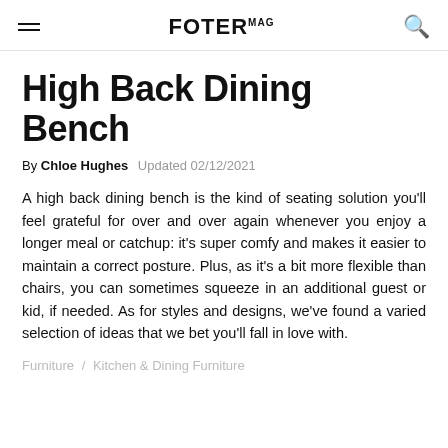FOTER MAG
High Back Dining Bench
By Chloe Hughes  Updated 02/12/2021
A high back dining bench is the kind of seating solution you'll feel grateful for over and over again whenever you enjoy a longer meal or catchup: it's super comfy and makes it easier to maintain a correct posture. Plus, as it's a bit more flexible than chairs, you can sometimes squeeze in an additional guest or kid, if needed. As for styles and designs, we've found a varied selection of ideas that we bet you'll fall in love with.
Furniture / Kitchen & Dining Furniture